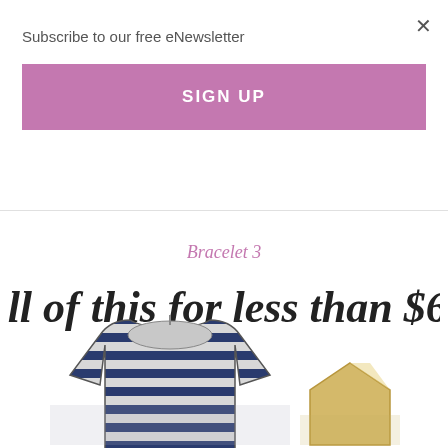Subscribe to our free eNewsletter
SIGN UP
Bracelet 3
[Figure (illustration): Decorative script text reading 'All of this for less than $65' in brush-style handwriting font, dark charcoal color]
[Figure (photo): Product photo of a navy and grey striped cowl-neck long sleeve top on a hanger, with a reflection below. Beside it, a small gold geometric house-shaped charm or earring.]